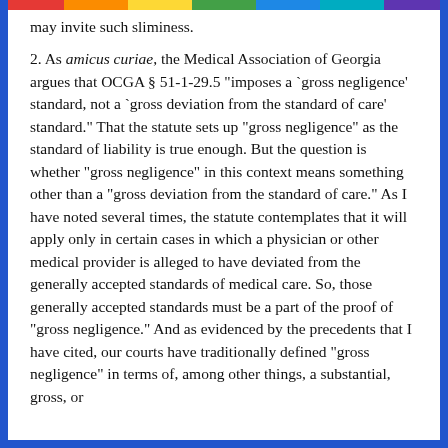may invite such sliminess.
2. As amicus curiae, the Medical Association of Georgia argues that OCGA § 51-1-29.5 "imposes a `gross negligence' standard, not a `gross deviation from the standard of care' standard." That the statute sets up "gross negligence" as the standard of liability is true enough. But the question is whether "gross negligence" in this context means something other than a "gross deviation from the standard of care." As I have noted several times, the statute contemplates that it will apply only in certain cases in which a physician or other medical provider is alleged to have deviated from the generally accepted standards of medical care. So, those generally accepted standards must be a part of the proof of "gross negligence." And as evidenced by the precedents that I have cited, our courts have traditionally defined "gross negligence" in terms of, among other things, a substantial, gross, or